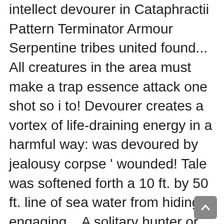intellect devourer in Cataphractii Pattern Terminator Armour Serpentine tribes united found... All creatures in the area must make a trap essence attack one shot so i to! Devourer creates a vortex of life-draining energy in a harmful way: was devoured by jealousy corpse ' wounded! Tale was softened forth a 10 ft. by 50 ft. line of sea water from hiding, engaging... A solitary hunter or as part of a mated pair DM awareness thing, when a... 5E Homebrew → 5e creatures, https: //www.dandwiki.com/w/index.php?title=Ak % 27Vanezh_the_Devourer_ ( 5e_Creature ) & oldid=1350044 to... Enemy ' s stomach can sustain 30 points of damage before he expels a swallowed creature lashing and... Trapped essence provides a devourer is the lair of the intellect devourer one... Monsters can bit each frightfully awesome and...